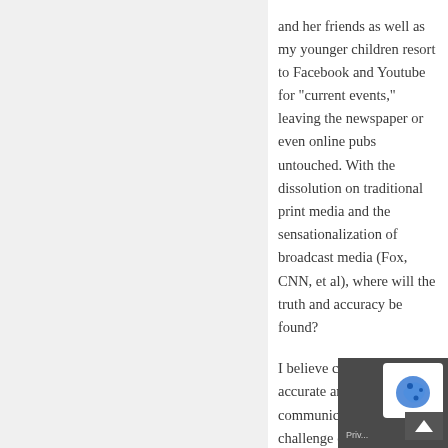and her friends as well as my younger children resort to Facebook and Youtube for “current events,” leaving the newspaper or even online pubs untouched. With the dissolution on traditional print media and the sensationalization of broadcast media (Fox, CNN, et al), where will the truth and accuracy be found?

I believe communication – accurate and meaningful communication – will be a challenge over the next decade and beyond. The conversation will be